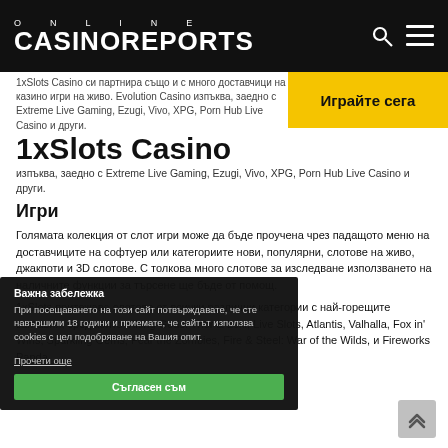ONLINE CASINOREPORTS
1xSlots Casino си партнира също и с много доставчици на казино игри на живо. Evolution Gaming изпъква, заедно с Extreme Live Gaming, Ezugi, Vivo, XPG, Porn Hub Live Casino и други.
1xSlots Casino
[Figure (other): Yellow CTA button reading 'Играйте сега']
Игри
Голямата колекция от слот игри може да бъде проучена чрез падащото меню на доставчиците на софтуер или категориите нови, популярни, слотове на живо, джакпоти и 3D слотове. С толкова много слотове за изследване използването на наличните функции за търсене ще бъде от помощ.
1xSlots притежава слотове от всички различни категории с най-горещите заглавия, сред които Viking Gods: Thor & Loki, Live Slots, Atlantis, Valhalla, Fox in' Wins, Sparkling Gems, Fear the Zombies, Fire & Steel: War of the Wilds, и Fireworks Panda.
Важна забележка
При посещаването на този сайт потвърждавате, че сте навършили 18 години и приемате, че сайтът използва cookies с цел подобряване на Вашия опит.
Прочети още
Съгласен съм